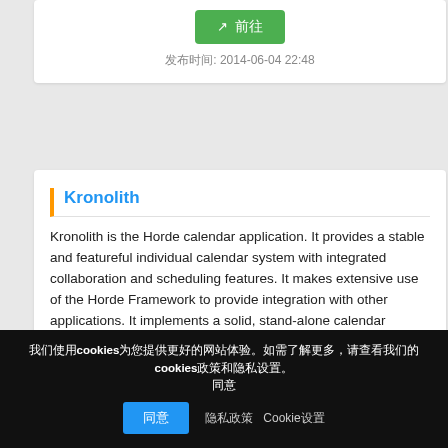[Figure (screenshot): Green button with external link icon and Chinese text, followed by timestamp 2014-06-04 22:48]
发布时间: 2014-06-04 22:48
Kronolith
Kronolith is the Horde calendar application. It provides a stable and featureful individual calendar system with integrated collaboration and scheduling features. It makes extensive use of the Horde Framework to provide integration with other applications. It implements a solid, stand-alone calendar system, allowing repeating events, all-day events, custom fields, keywords, shared calendars, iCalendar support, generation of free/busy information, and managing multiple users through Horde Authentication.
我们使用cookies为您提供更好的网站体验。如需了解更多，请查看我们的cookies政策和隐私设置。同意
隐私政策 Cookie设置